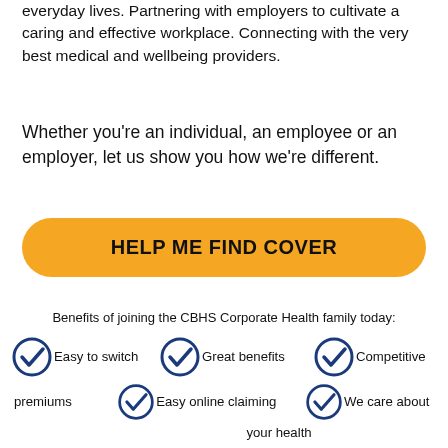everyday lives. Partnering with employers to cultivate a caring and effective workplace. Connecting with the very best medical and wellbeing providers.
Whether you’re an individual, an employee or an employer, let us show you how we’re different.
HELP ME FIND COVER
Benefits of joining the CBHS Corporate Health family today:
Easy to switch
Great benefits
Competitive premiums
Easy online claiming
We care about your health